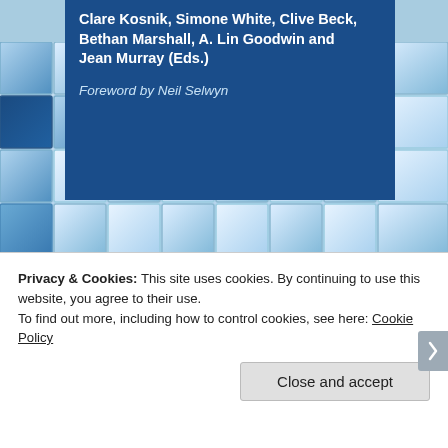Clare Kosnik, Simone White, Clive Beck, Bethan Marshall, A. Lin Goodwin and Jean Murray (Eds.)
Foreword by Neil Selwyn
[Figure (illustration): Book cover image showing a three-dimensional grid of translucent blue and white glass cubes arranged in a mosaic pattern, with varying shades of blue from dark navy to pale sky blue.]
Privacy & Cookies: This site uses cookies. By continuing to use this website, you agree to their use.
To find out more, including how to control cookies, see here: Cookie Policy
Close and accept